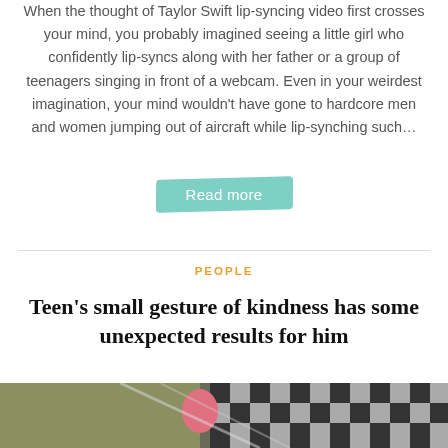When the thought of Taylor Swift lip-syncing video first crosses your mind, you probably imagined seeing a little girl who confidently lip-syncs along with her father or a group of teenagers singing in front of a webcam. Even in your weirdest imagination, your mind wouldn't have gone to hardcore men and women jumping out of aircraft while lip-synching such…
Read more
PEOPLE
Teen's small gesture of kindness has some unexpected results for him
[Figure (photo): Security camera footage showing a person in a pink outfit, viewed from above, in what appears to be a checkered floor store or shop setting]